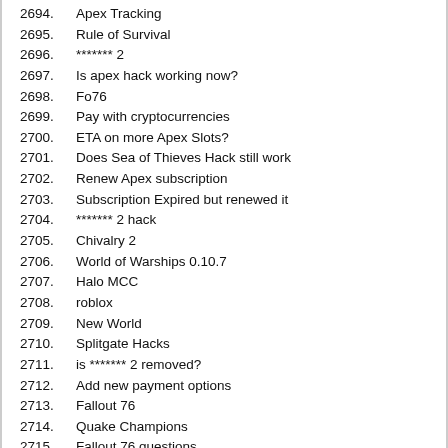2694. Apex Tracking
2695. Rule of Survival
2696. ******* 2
2697. Is apex hack working now?
2698. Fo76
2699. Pay with cryptocurrencies
2700. ETA on more Apex Slots?
2701. Does Sea of Thieves Hack still work
2702. Renew Apex subscription
2703. Subscription Expired but renewed it
2704. ******* 2 hack
2705. Chivalry 2
2706. World of Warships 0.10.7
2707. Halo MCC
2708. roblox
2709. New World
2710. Splitgate Hacks
2711. is ******* 2 removed?
2712. Add new payment options
2713. Fallout 76
2714. Quake Champions
2715. Fallout 76 questions
2716. Battlefield V
2717. New world
2718. Sea of thieves
2719. Dead By Daylight
2720. new world launching less than 24 hours
2721. Does DBD cheat is available for purchasing ? Really want its
2722. New World
2723. (partial — cut off)